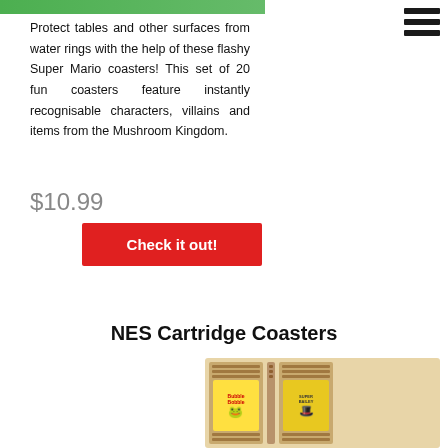[Figure (photo): Partial view of a green-background product image at the top left (cropped)]
Protect tables and other surfaces from water rings with the help of these flashy Super Mario coasters! This set of 20 fun coasters feature instantly recognisable characters, villains and items from the Mushroom Kingdom.
$10.99
Check it out!
NES Cartridge Coasters
[Figure (photo): Photo of NES cartridge coasters made from wood, showing Bubble Bobble and Super Bailey cartridge designs]